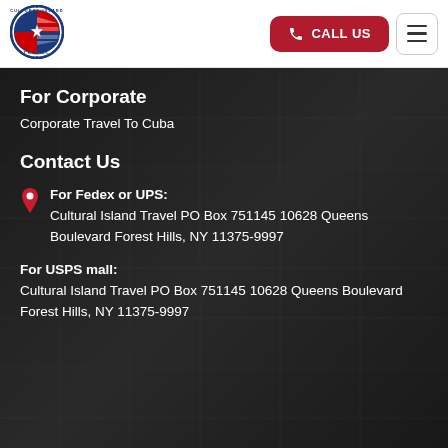[Figure (logo): Cultural Island Travel circular logo with US flag and Cuban flag design]
CALL US
For Corporate
Corporate Travel To Cuba
Contact Us
For Fedex or UPS:
Cultural Island Travel PO Box 751145 10628 Queens Boulevard Forest Hills, NY 11375-9997
For USPS mall:
Cultural Island Travel PO Box 751145 10628 Queens Boulevard Forest Hills, NY 11375-9997